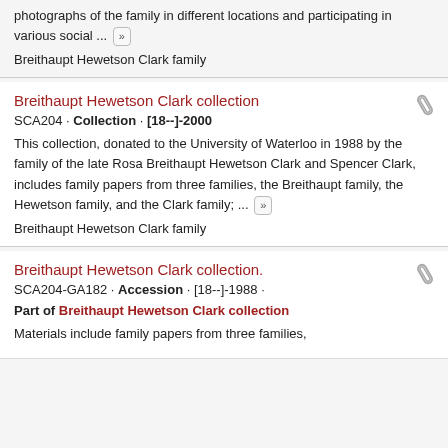photographs of the family in different locations and participating in various social ...
Breithaupt Hewetson Clark family
Breithaupt Hewetson Clark collection
SCA204 · Collection · [18--]-2000
This collection, donated to the University of Waterloo in 1988 by the family of the late Rosa Breithaupt Hewetson Clark and Spencer Clark, includes family papers from three families, the Breithaupt family, the Hewetson family, and the Clark family; ...
Breithaupt Hewetson Clark family
Breithaupt Hewetson Clark collection.
SCA204-GA182 · Accession · [18--]-1988 ·
Part of Breithaupt Hewetson Clark collection
Materials include family papers from three families,